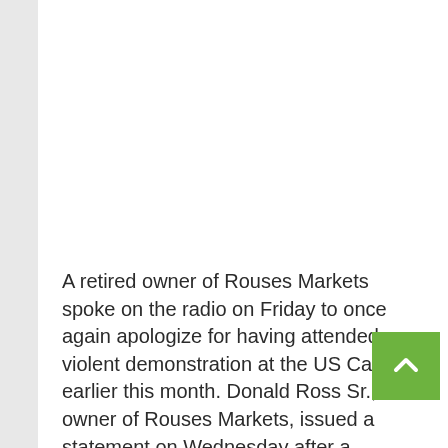[Figure (other): Advertisement placeholder area (white/blank)]
A retired owner of Rouses Markets spoke on the radio on Friday to once again apologize for having attended a violent demonstration at the US Capitol earlier this month. Donald Ross Sr., owner of Rouses Markets, issued a statement on Wednesday after a picture of him surfaced onli showing his presence at the violent march on